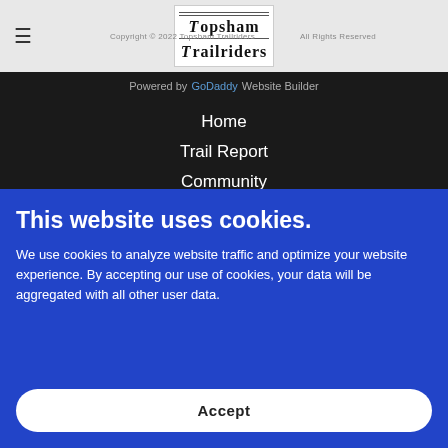☰  Copyright © 2022 Topsham Trailriders  All Rights Reserved
Powered by GoDaddy Website Builder
Home
Trail Report
Community
This website uses cookies.
We use cookies to analyze website traffic and optimize your website experience. By accepting our use of cookies, your data will be aggregated with all other user data.
Accept